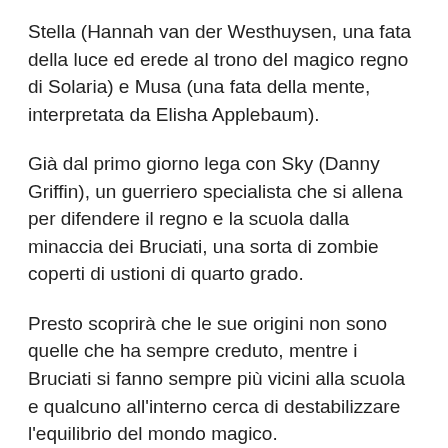Stella (Hannah van der Westhuysen, una fata della luce ed erede al trono del magico regno di Solaria) e Musa (una fata della mente, interpretata da Elisha Applebaum).
Già dal primo giorno lega con Sky (Danny Griffin), un guerriero specialista che si allena per difendere il regno e la scuola dalla minaccia dei Bruciati, una sorta di zombie coperti di ustioni di quarto grado.
Presto scoprirà che le sue origini non sono quelle che ha sempre creduto, mentre i Bruciati si fanno sempre più vicini alla scuola e qualcuno all'interno cerca di destabilizzare l'equilibrio del mondo magico.
Sarò sincera, ci ho messo un po' a decidermi a guardare questa serie, perché avevo in mente le fatine di Rai YoYo con le alucce glitterate che